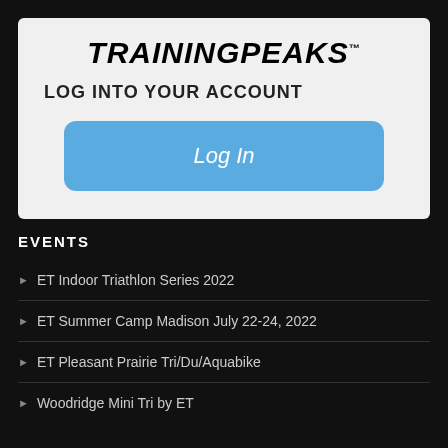[Figure (logo): TrainingPeaks logo in bold italic black text with TM superscript]
LOG INTO YOUR ACCOUNT
[Figure (other): Blue rounded 'Log In' button]
EVENTS
ET Indoor Triathlon Series 2022
ET Summer Camp Madison July 22-24, 2022
ET Pleasant Prairie Tri/Du/Aquabike
Woodridge Mini Tri by ET